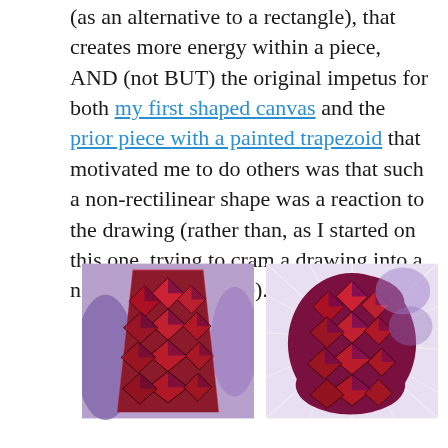(as an alternative to a rectangle), that creates more energy within a piece, AND (not BUT) the original impetus for both my first shaped canvas and the prior piece with a painted trapezoid that motivated me to do others was that such a non-rectilinear shape was a reaction to the drawing (rather than, as I started on this one, trying to cram a drawing into a non-rectilinear shape).
[Figure (photo): Left: painting of a trapezoid-shaped canvas with geometric diamond/cube pattern in deep reds and purples on a lavender background.]
[Figure (photo): Right: drawing of a rounded organic shape filled with geometric diamond/cube pattern in reds and purples with white radiating lines on a white/lavender background.]